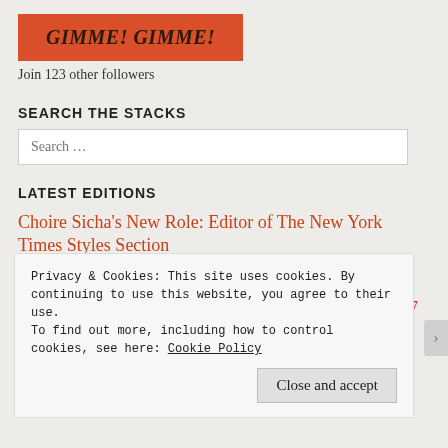GIMME! GIMME!
Join 123 other followers
SEARCH THE STACKS
Search ...
LATEST EDITIONS
Choire Sicha's New Role: Editor of The New York Times Styles Section
The Shebeen Club Opens in Ottawa
come see me at social media camp in Victoria, May 5-7
Privacy & Cookies: This site uses cookies. By continuing to use this website, you agree to their use.
To find out more, including how to control cookies, see here: Cookie Policy
Close and accept